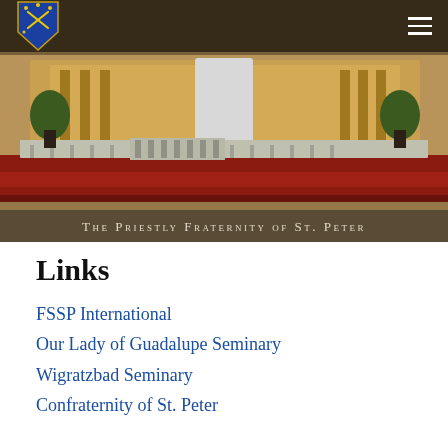The Priestly Fraternity of St. Peter — navigation header with logo and hamburger menu
[Figure (photo): Interior photo of a Catholic church sanctuary with altar, red carpet steps, ornate gold reredos, plants, and clergy. Text overlay reads 'The Priestly Fraternity of St. Peter' in small caps.]
Links
FSSP International
Our Lady of Guadalupe Seminary
Wigratzbad Seminary
Confraternity of St. Peter